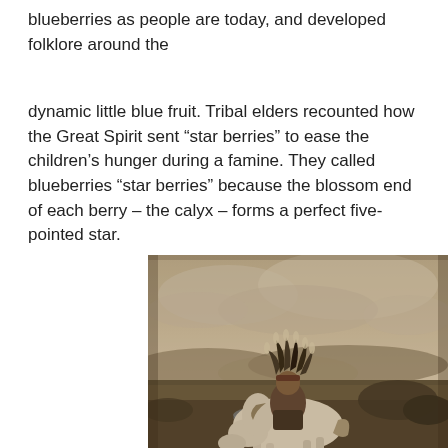blueberries as people are today, and developed folklore around the
dynamic little blue fruit. Tribal elders recounted how the Great Spirit sent “star berries” to ease the children’s hunger during a famine. They called blueberries “star berries” because the blossom end of each berry – the calyx – forms a perfect five-pointed star.
[Figure (photo): Sepia-toned historical photograph of a Native American man in full headdress sitting on a white horse in an open prairie landscape, with hills in the background and a small stream or pond visible near the horse.]